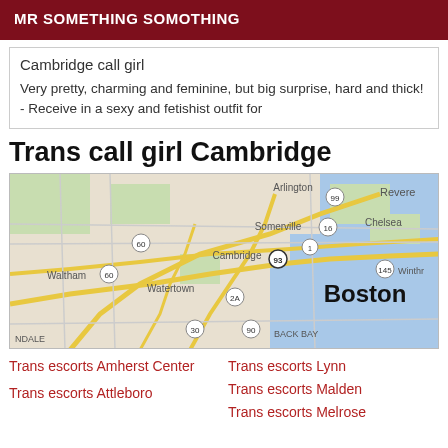MR SOMETHING SOMOTHING
Cambridge call girl
Very pretty, charming and feminine, but big surprise, hard and thick! - Receive in a sexy and fetishist outfit for
Trans call girl Cambridge
[Figure (map): Google Maps view showing Boston area including Cambridge, Somerville, Watertown, Waltham, Revere, Chelsea, and surrounding areas with road network and water features.]
Trans escorts Amherst Center
Trans escorts Lynn
Trans escorts Malden
Trans escorts Attleboro
Trans escorts Melrose